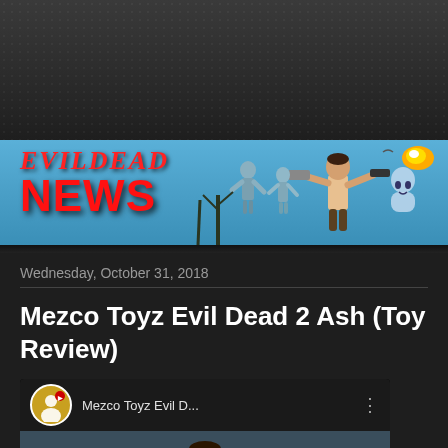[Figure (illustration): Evil Dead News website header banner with blue background showing animated characters including Ash wielding a shotgun and chainsaw, zombies, and trees. Red italic 'Evil Dead' text and large red bold 'NEWS' text logo on the left.]
Wednesday, October 31, 2018
Mezco Toyz Evil Dead 2 Ash (Toy Review)
[Figure (screenshot): Embedded YouTube video player showing Mezco Toyz Evil Dead D... title with channel avatar icon and three-dot menu. Thumbnail shows a figure toy of Ash from Evil Dead 2 with a red YouTube play button overlay.]